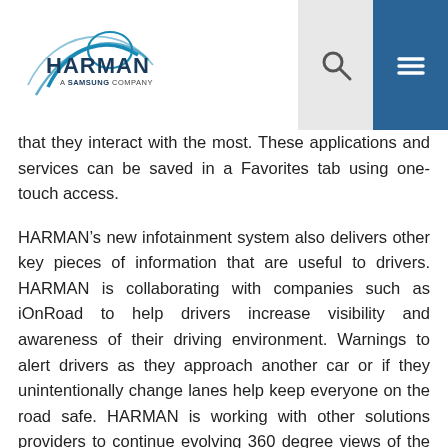[Figure (logo): HARMAN - A Samsung Company logo with blue arc/wave design]
that they interact with the most. These applications and services can be saved in a Favorites tab using one-touch access.
HARMAN’s new infotainment system also delivers other key pieces of information that are useful to drivers. HARMAN is collaborating with companies such as iOnRoad to help drivers increase visibility and awareness of their driving environment. Warnings to alert drivers as they approach another car or if they unintentionally change lanes help keep everyone on the road safe. HARMAN is working with other solutions providers to continue evolving 360 degree views of the vehicle to assist with parking, provide